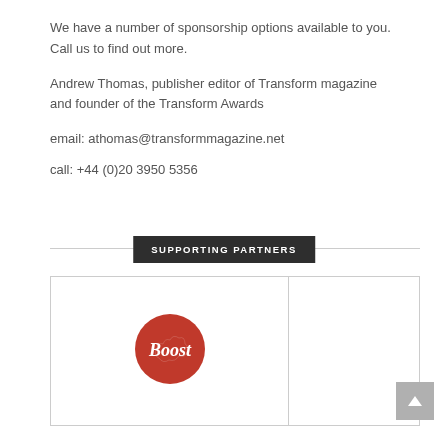We have a number of sponsorship options available to you. Call us to find out more.
Andrew Thomas, publisher editor of Transform magazine and founder of the Transform Awards
email: athomas@transformmagazine.net
call: +44 (0)20 3950 5356
SUPPORTING PARTNERS
[Figure (logo): Boost brand logo — red circular badge with stylized 'Boost' script text in white]